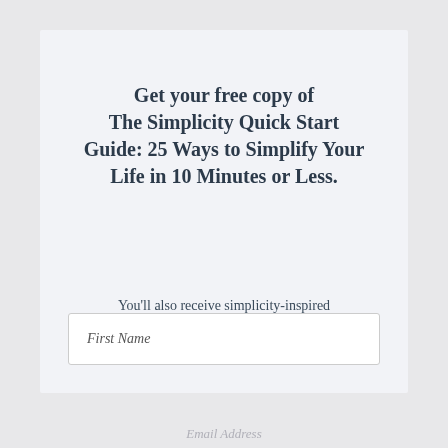Get your free copy of The Simplicity Quick Start Guide: 25 Ways to Simplify Your Life in 10 Minutes or Less.
You'll also receive simplicity-inspired articles delivered for free.
First Name
Email Address